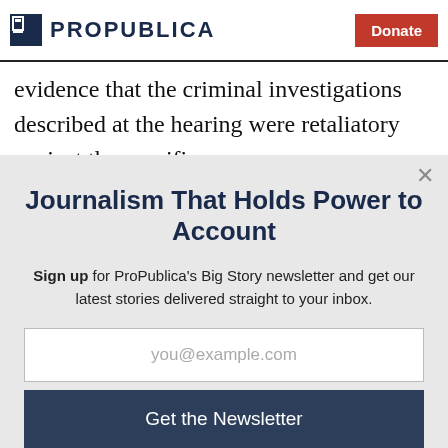ProPublica | Donate
evidence that the criminal investigations described at the hearing were retaliatory against the specific
Journalism That Holds Power to Account
Sign up for ProPublica's Big Story newsletter and get our latest stories delivered straight to your inbox.
you@example.com
Get the Newsletter
No thanks, I'm all set
This site is protected by reCAPTCHA and the Google Privacy Policy and Terms of Service apply.